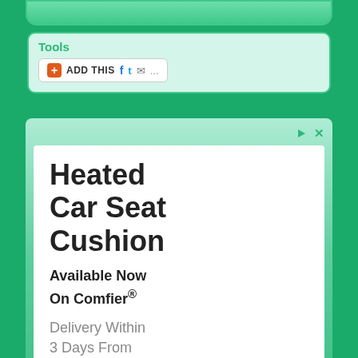Tools
[Figure (screenshot): AddThis social sharing bar with Facebook, Twitter, email and more icons]
[Figure (screenshot): Advertisement for Heated Car Seat Cushion available on Comfier. Text reads: Heated Car Seat Cushion. Available Now On Comfier®. Delivery Within 3 Days From the US Warehouse Free Shipping & Returns.]